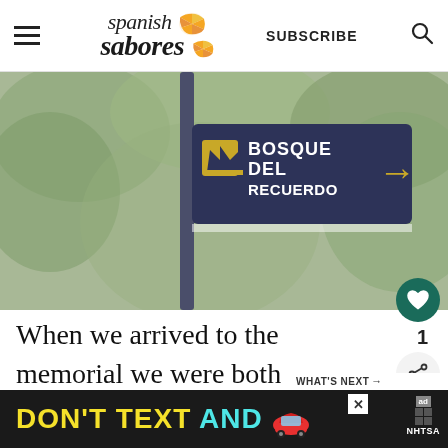Spanish Sabores | SUBSCRIBE
[Figure (photo): A directional sign reading 'BOSQUE DEL RECUERDO' with an arrow pointing right, mounted on a pole surrounded by trees/foliage.]
When we arrived to the memorial we were both surprised we hadn't heard about it earlier, and were stuck by the beauty
[Figure (photo): Thumbnail of a royal building for 'Fit for a King: A Tour of th...' article]
[Figure (other): Advertisement banner: DON'T TEXT AND [car emoji] — ad badge, NHTSA]